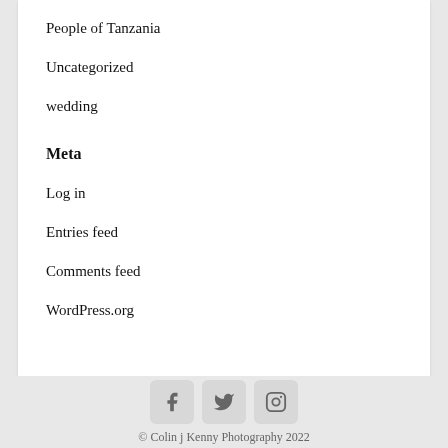People of Tanzania
Uncategorized
wedding
Meta
Log in
Entries feed
Comments feed
WordPress.org
© Colin j Kenny Photography 2022